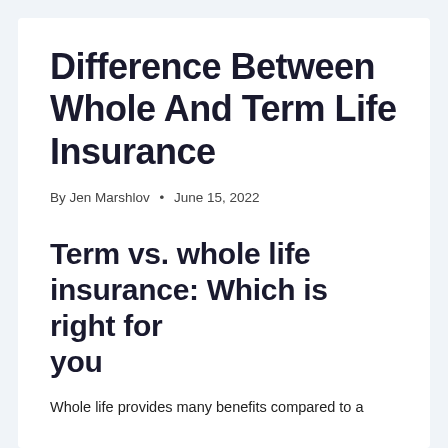Difference Between Whole And Term Life Insurance
By Jen Marshlov • June 15, 2022
Term vs. whole life insurance: Which is right for you
Whole life provides many benefits compared to a